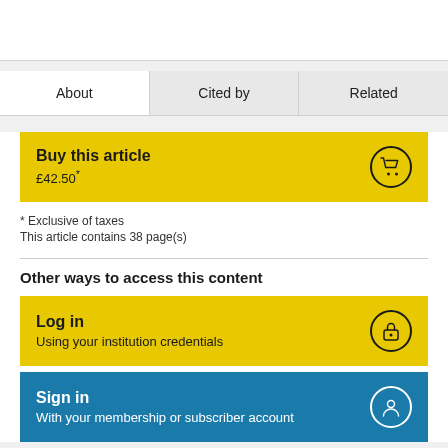About
Cited by
Related
Buy this article
£42.50*
* Exclusive of taxes
This article contains 38 page(s)
Other ways to access this content
Log in
Using your institution credentials
Sign in
With your membership or subscriber account